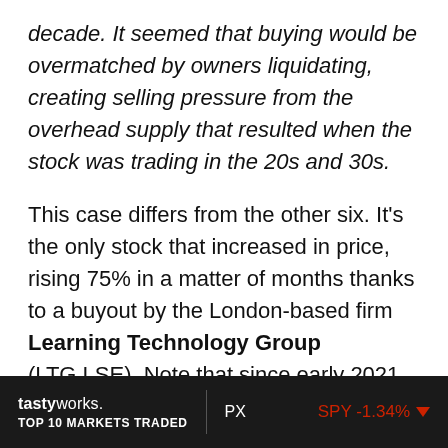decade. It seemed that buying would be overmatched by owners liquidating, creating selling pressure from the overhead supply that resulted when the stock was trading in the 20s and 30s.
This case differs from the other six. It's the only stock that increased in price, rising 75% in a matter of months thanks to a buyout by the London-based firm Learning Technology Group (LTG.LSE). Note that since early 2021, the new parent company decreased 35%.
tastyworks. TOP 10 MARKETS TRADED | PX | SPY -1.34%